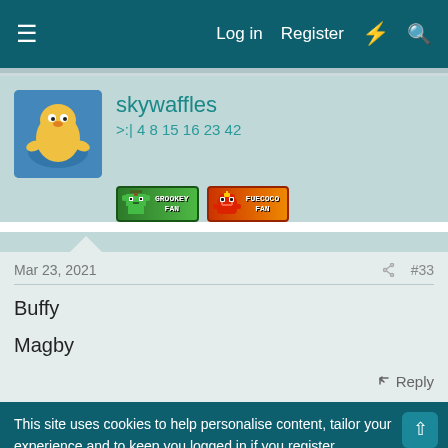Log in   Register
skywaffles
>:| 4 8 15 16 23 42
[Figure (illustration): Pokemon fan badges: Grookey Fan badge (green) and Fuecoco Fan badge (orange/red)]
Mar 23, 2021  #33
Buffy
Magby
↩ Reply
This site uses cookies to help personalise content, tailor your experience and to keep you logged in if you register.
By continuing to use this site, you are consenting to our use of cookies.